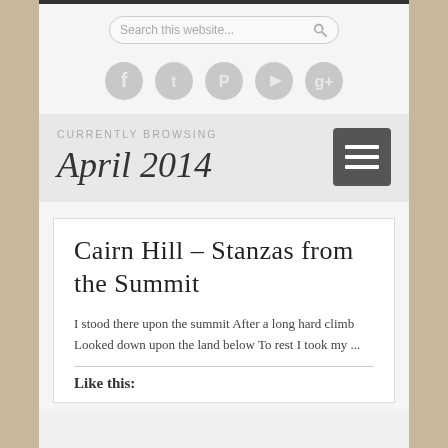[Figure (screenshot): Search box with placeholder text 'Search this website...' and a search icon]
[Figure (infographic): Row of five social media icons: Facebook, Twitter, Pinterest, YouTube, Google+]
CURRENTLY BROWSING
April 2014
Cairn Hill – Stanzas from the Summit
I stood there upon the summit After a long hard climb Looked down upon the land below To rest I took my ...
Like this: